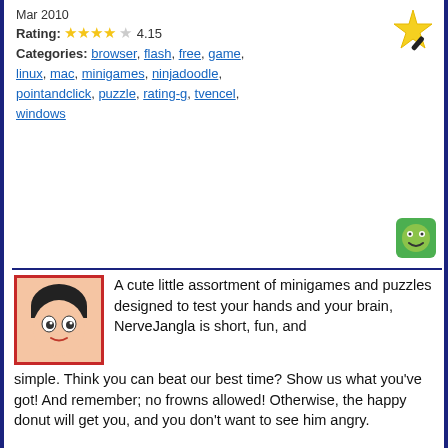Mar 2010
Rating: 4.15
Categories: browser, flash, free, game, linux, mac, minigames, ninjadoodle, pointandclick, puzzle, rating-g, tvencel, windows
[Figure (illustration): Anime-style character avatar (boy with dark hair)]
A cute little assortment of minigames and puzzles designed to test your hands and your brain, NerveJangla is short, fun, and simple. Think you can beat our best time? Show us what you've got! And remember; no frowns allowed! Otherwise, the happy donut will get you, and you don't want to see him angry.
Alt Shift
Feb 2010
Rating: 4.26
Categories: affiliate, armorgames, casual, demo, download, game, minigames, platform, puzzle, rating-g, shift, windows
Alt Shift gives us an all new Shift-style